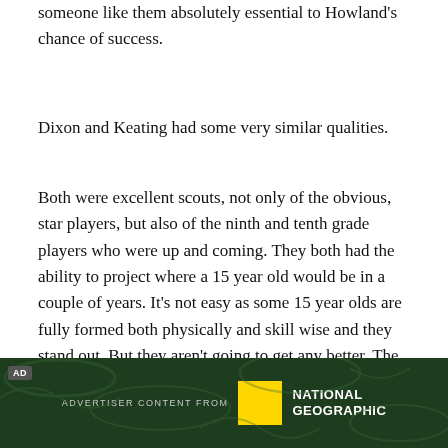someone like them absolutely essential to Howland's chance of success.
Dixon and Keating had some very similar qualities.
Both were excellent scouts, not only of the obvious, star players, but also of the ninth and tenth grade players who were up and coming. They both had the ability to project where a 15 year old would be in a couple of years. It’s not easy as some 15 year olds are fully formed both physically and skill wise and they stand out. But they aren't going to get any better. The trick is spotting the baby-faced kid who’s still growing and developing.
[Figure (other): Advertisement banner with 'AD' label, text 'ADVERTISER CONTENT FROM', National Geographic yellow square logo, and 'NATIONAL GEOGRAPHIC' text in white on dark green background with vine/leaf decorative pattern.]